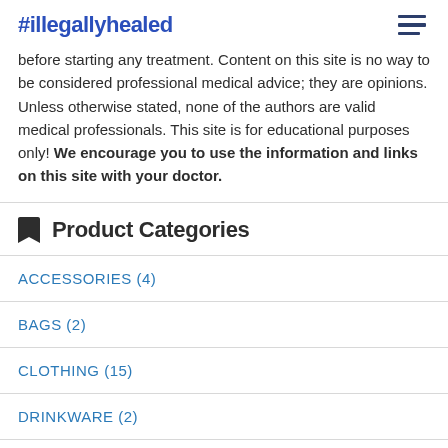#illegallyhealed
before starting any treatment. Content on this site is no way to be considered professional medical advice; they are opinions. Unless otherwise stated, none of the authors are valid medical professionals. This site is for educational purposes only! We encourage you to use the information and links on this site with your doctor.
Product Categories
ACCESSORIES (4)
BAGS (2)
CLOTHING (15)
DRINKWARE (2)